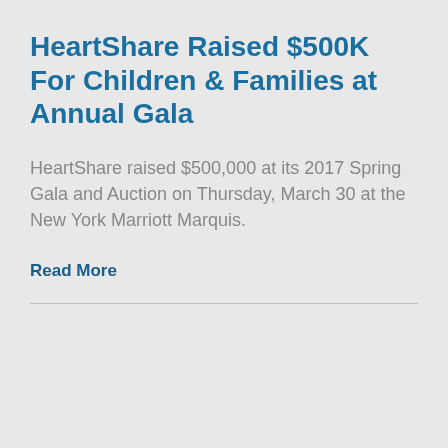HeartShare Raised $500K For Children & Families at Annual Gala
HeartShare raised $500,000 at its 2017 Spring Gala and Auction on Thursday, March 30 at the New York Marriott Marquis.
Read More